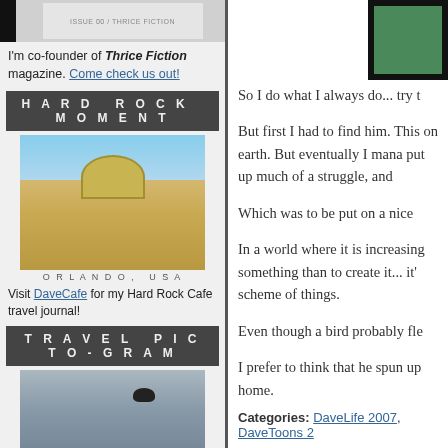[Figure (photo): Magazine cover thumbnail at top of left sidebar]
I'm co-founder of Thrice Fiction magazine. Come check us out!
HARD ROCK MOMENT
[Figure (photo): Photo of Hard Rock Cafe building in Orlando, USA]
ORLANDO, USA
Visit DaveCafe for my Hard Rock Cafe travel journal!
TRAVEL PICTO-GRAM
[Figure (photo): Photo of a black bird on stone wall in London, England]
LONDON, ENGLAND
Visit my travel map to see where I have been in this world!
BADGEMANIA
[Figure (logo): Blogography.com! badge logo]
[Figure (other): Entries feed icons with green and orange RSS icons and ENTRIES FEED label]
[Figure (photo): Partial green framed image in upper right of right column]
So I do what I always do... try t
But first I had to find him. This on earth. But eventually I mana put up much of a struggle, and
Which was to be put on a nice
In a world where it is increasing something than to create it... it' scheme of things.
Even though a bird probably fle
I prefer to think that he spun up home.
Categories: DaveLife 2007, DaveToons 2